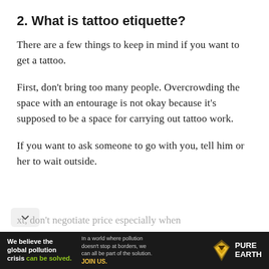2. What is tattoo etiquette?
There are a few things to keep in mind if you want to get a tattoo.
First, don't bring too many people. Overcrowding the space with an entourage is not okay because it's supposed to be a space for carrying out tattoo work.
If you want to ask someone to go with you, tell him or her to wait outside.
xt, don't negotiate price especially when
[Figure (infographic): Pure Earth advertisement banner. Dark background with text: 'We believe the global pollution crisis can be solved.' and 'In a world where pollution doesn't stop at borders, we can all be part of the solution. JOIN US.' with Pure Earth logo.]